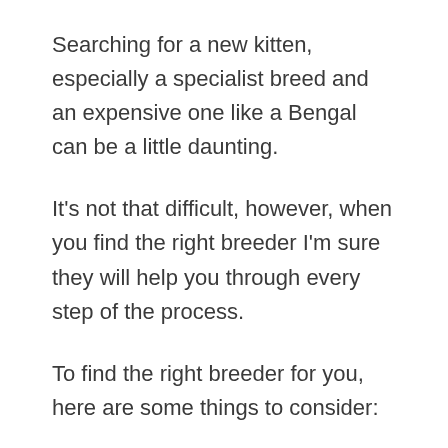Searching for a new kitten, especially a specialist breed and an expensive one like a Bengal can be a little daunting.
It's not that difficult, however, when you find the right breeder I'm sure they will help you through every step of the process.
To find the right breeder for you, here are some things to consider:
Are they local? – Finding a breeder as near to you as possible is always ideal – although I understand it's not always possible with a kitten as rare as a Bengal.